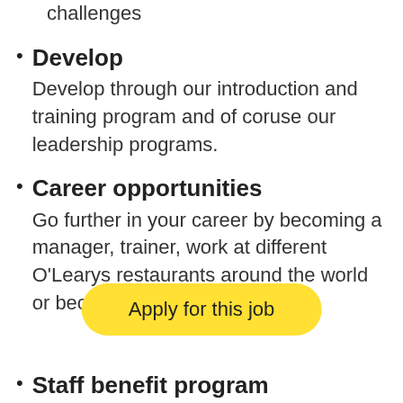challenges
Develop
Develop through our introduction and training program and of coruse our leadership programs.
Career opportunities
Go further in your career by becoming a manager, trainer, work at different O'Learys restaurants around the world or become a f...
[Figure (other): Yellow rounded button with text 'Apply for this job']
Staff benefit program
Get discounts and offers at all O'Learys